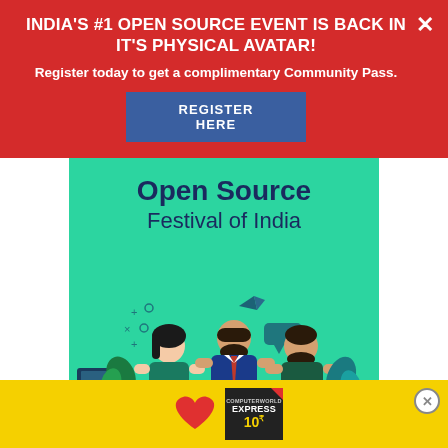INDIA'S #1 OPEN SOURCE EVENT IS BACK IN IT'S PHYSICAL AVATAR!
Register today to get a complimentary Community Pass.
REGISTER HERE
[Figure (illustration): Open Source Festival of India promotional banner with illustrated characters (people) on a green background]
Yes, you read that right. No matter what the warlords at Apple may ... if you
[Figure (illustration): Yellow advertisement banner with red heart icon and Computerworld Express magazine badge]